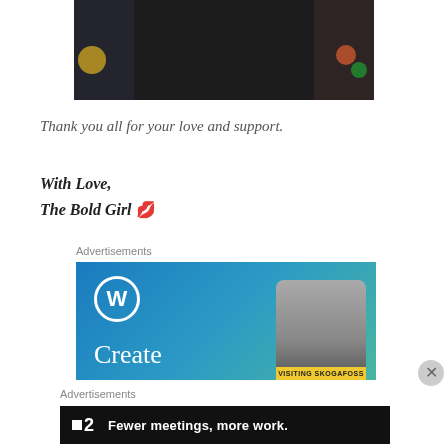[Figure (photo): Cropped image of a person in dark clothing with large bold white text 'EVERYBODY' overlaid on a dark background]
Thank you all for your love and support.
With Love,
The Bold Girl 💋
Advertisements
[Figure (screenshot): WordPress advertisement banner with blue/teal gradient background, WordPress logo (W in circle), 'Create' text in white, and a phone mockup showing 'VISITING SKOGAFOSS']
Advertisements
[Figure (screenshot): Dark advertisement banner with Flat2 logo and text 'Fewer meetings, more work.']